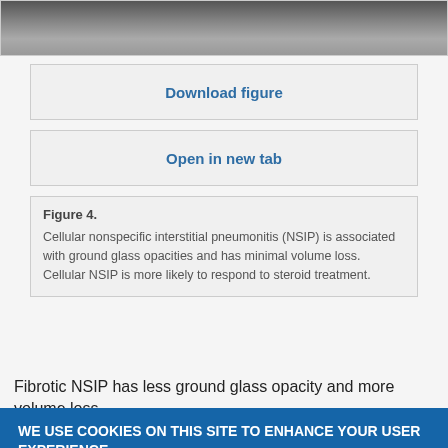[Figure (photo): CT scan image showing lung cross-section, grayscale medical imaging]
Download figure
Open in new tab
Figure 4.
Cellular nonspecific interstitial pneumonitis (NSIP) is associated with ground glass opacities and has minimal volume loss. Cellular NSIP is more likely to respond to steroid treatment.
Fibrotic NSIP has less ground glass opacity and more volume loss
WE USE COOKIES ON THIS SITE TO ENHANCE YOUR USER EXPERIENCE
By clicking any link on this page you are giving your consent for us to set cookies.
OK, I agree
Decline
More info